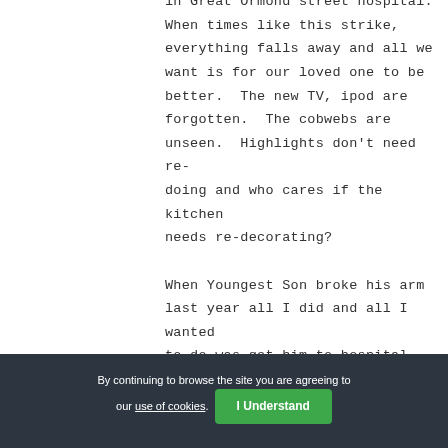in Great Ormond street hospital. When times like this strike, everything falls away and all we want is for our loved one to be better. The new TV, ipod are forgotten. The cobwebs are unseen. Highlights don't need re-doing and who cares if the kitchen needs re-decorating?

When Youngest Son broke his arm last year all I did and all I wanted to do was get him to hospital, stop the pain, make it safe, make
By continuing to browse the site you are agreeing to our use of cookies. I Understand